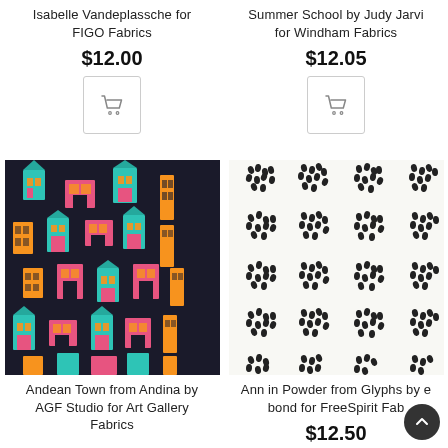Isabelle Vandeplassche for FIGO Fabrics
$12.00
[Figure (illustration): Shopping cart icon button]
Summer School by Judy Jarvi for Windham Fabrics
$12.05
[Figure (illustration): Shopping cart icon button]
[Figure (photo): Andean Town fabric - dark background with colorful illustrated houses in teal, pink, orange]
Andean Town from Andina by AGF Studio for Art Gallery Fabrics
[Figure (photo): Ann in Powder fabric - white/cream background with black brushstroke dot clusters]
Ann in Powder from Glyphs by e bond for FreeSpirit Fab
$12.50